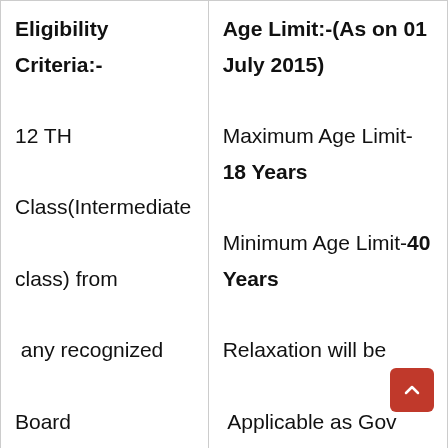| Eligibility Criteria:- | Age Limit:-(As on 01 July 2015) |
| --- | --- |
| 12 TH Class(Intermediate class) from  any recognized Board | Maximum Age Limit-18 Years
Minimum Age Limit-40 Years
Relaxation will be  Applicable as Gov Rule |